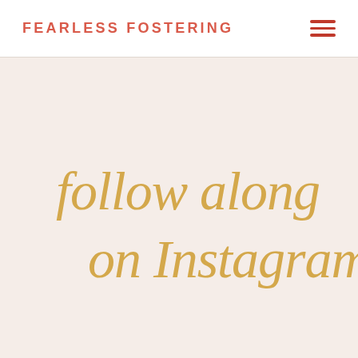FEARLESS FOSTERING
follow along on Instagram: